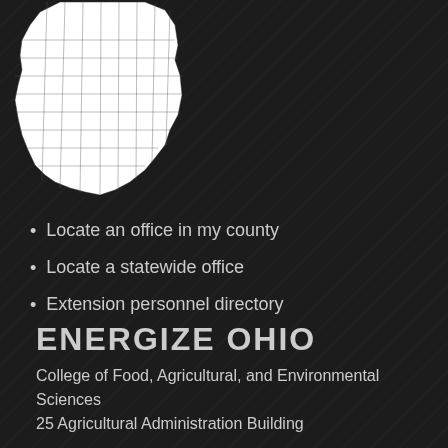[Figure (map): Outline map of Ohio showing county boundaries in white on dark background, positioned in top-left corner]
Locate an office in my county
Locate a statewide office
Extension personnel directory
ENERGIZE OHIO
College of Food, Agricultural, and Environmental Sciences
25 Agricultural Administration Building